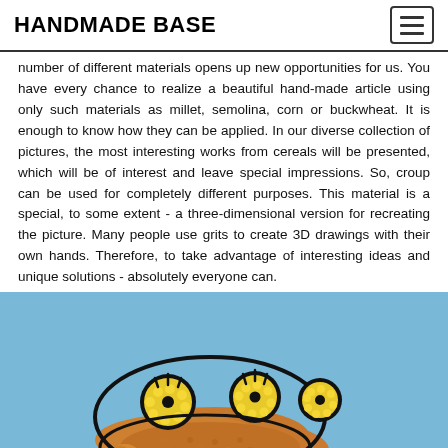HANDMADE BASE
number of different materials opens up new opportunities for us. You have every chance to realize a beautiful hand-made article using only such materials as millet, semolina, corn or buckwheat. It is enough to know how they can be applied. In our diverse collection of pictures, the most interesting works from cereals will be presented, which will be of interest and leave special impressions. So, croup can be used for completely different purposes. This material is a special, to some extent - a three-dimensional version for recreating the picture. Many people use grits to create 3D drawings with their own hands. Therefore, to take advantage of interesting ideas and unique solutions - absolutely everyone can.
[Figure (photo): A handmade art piece made from various cereal grains (corn, millet, yellow grains) arranged on a blue background to form a cat or frog-like figure with eyes, body, and decorative circular floral-like elements made from yellow millet.]